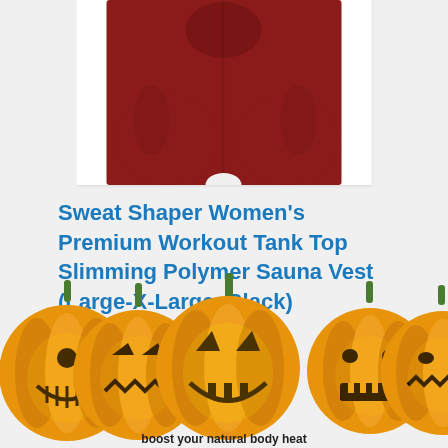[Figure (photo): Product photo of red/dark red workout pants or leggings, cropped showing the lower torso and upper legs area, on white background]
Sweat Shaper Women's Premium Workout Tank Top Slimming Polymer Sauna Vest (Large-X-Large, Black)
ADVANCED SWEATWEAR
[Figure (illustration): Row of five Halloween jack-o-lantern pumpkin emoji illustrations across the bottom of the page]
boost your natural body heat